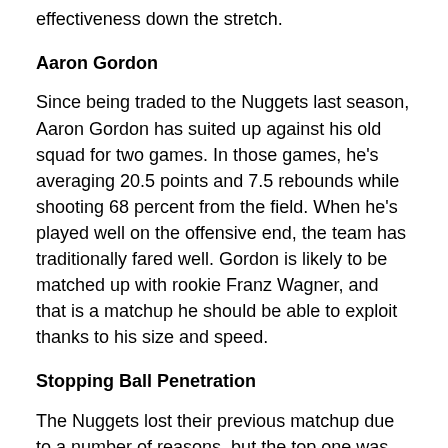effectiveness down the stretch.
Aaron Gordon
Since being traded to the Nuggets last season, Aaron Gordon has suited up against his old squad for two games. In those games, he's averaging 20.5 points and 7.5 rebounds while shooting 68 percent from the field. When he's played well on the offensive end, the team has traditionally fared well. Gordon is likely to be matched up with rookie Franz Wagner, and that is a matchup he should be able to exploit thanks to his size and speed.
Stopping Ball Penetration
The Nuggets lost their previous matchup due to a number of reasons, but the top one was their inability to keep the ball away from the rim. Orlando shot just 6-of-27 on 3-pointers in the game, and they're 26th on the